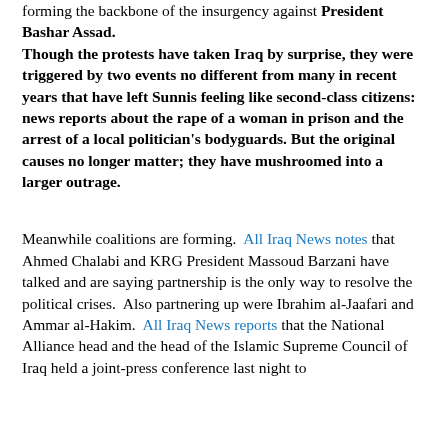forming the backbone of the insurgency against President Bashar Assad. Though the protests have taken Iraq by surprise, they were triggered by two events no different from many in recent years that have left Sunnis feeling like second-class citizens: news reports about the rape of a woman in prison and the arrest of a local politician's bodyguards. But the original causes no longer matter; they have mushroomed into a larger outrage.
Meanwhile coalitions are forming. All Iraq News notes that Ahmed Chalabi and KRG President Massoud Barzani have talked and are saying partnership is the only way to resolve the political crises. Also partnering up were Ibrahim al-Jaafari and Ammar al-Hakim. All Iraq News reports that the National Alliance head and the head of the Islamic Supreme Council of Iraq held a joint-press conference last night to